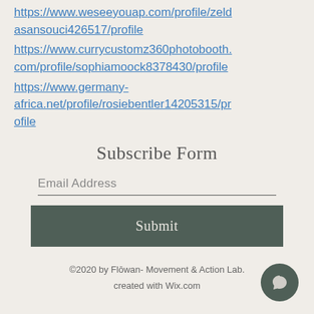https://www.weseeyouap.com/profile/zeldasansouci426517/profile
https://www.currycustomz360photobooth.com/profile/sophiamoock8378430/profile
https://www.germany-africa.net/profile/rosiebentler14205315/profile
Subscribe Form
Email Address
Submit
©2020 by Flōwan- Movement & Action Lab. created with Wix.com